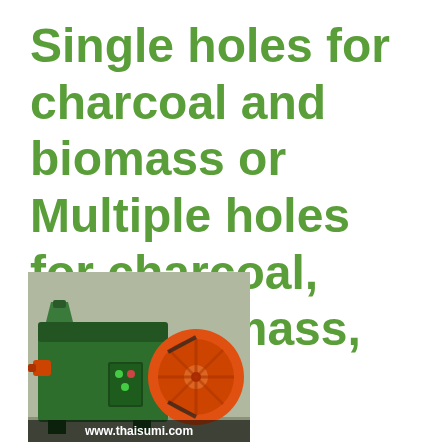Single holes for charcoal and biomass or Multiple holes for charcoal, coal, biomass, food.
[Figure (photo): Industrial briquette machine in green and orange colors, shown from the side. A green machine body with an orange flywheel/drum on the right side, small control panel with indicator lights visible on the machine body.]
www.thaisumi.com